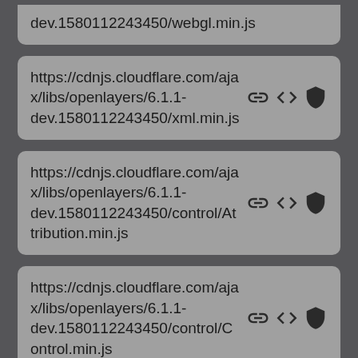dev.1580112243450/webgl.min.js
https://cdnjs.cloudflare.com/ajax/libs/openlayers/6.1.1-dev.1580112243450/xml.min.js
https://cdnjs.cloudflare.com/ajax/libs/openlayers/6.1.1-dev.1580112243450/control/Attribution.min.js
https://cdnjs.cloudflare.com/ajax/libs/openlayers/6.1.1-dev.1580112243450/control/Control.min.js